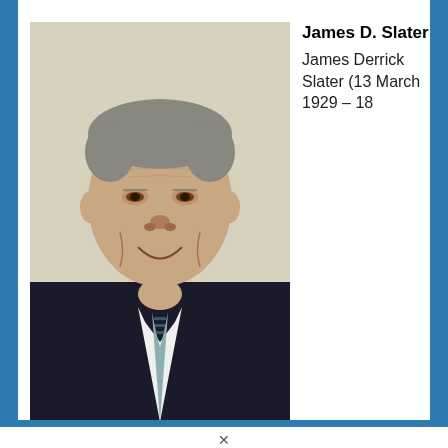[Figure (photo): Portrait photograph of James D. Slater, an elderly man in a dark suit and patterned tie, smiling, set against a light background.]
James D. Slater
James Derrick Slater (13 March 1929 – 18